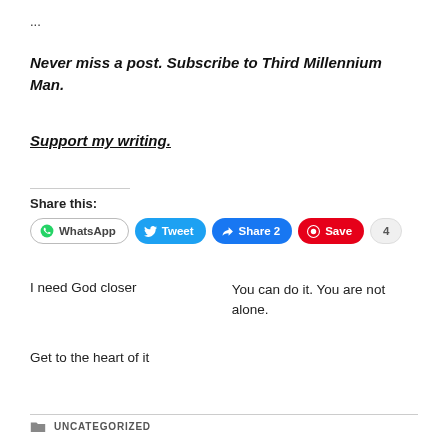...
Never miss a post. Subscribe to Third Millennium Man.
Support my writing.
Share this:
[Figure (other): Social share buttons: WhatsApp, Tweet, Share 2, Save, 4]
I need God closer
You can do it. You are not alone.
Get to the heart of it
UNCATEGORIZED